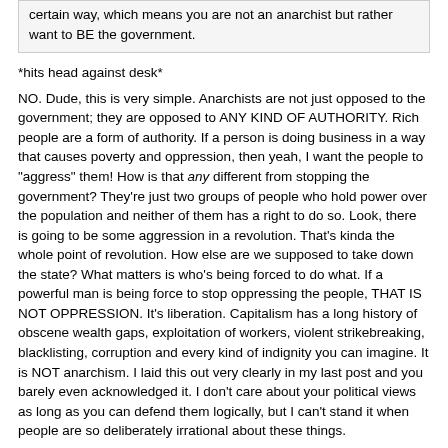certain way, which means you are not an anarchist but rather want to BE the government.
*hits head against desk*
NO. Dude, this is very simple. Anarchists are not just opposed to the government; they are opposed to ANY KIND OF AUTHORITY. Rich people are a form of authority. If a person is doing business in a way that causes poverty and oppression, then yeah, I want the people to "aggress" them! How is that any different from stopping the government? They're just two groups of people who hold power over the population and neither of them has a right to do so. Look, there is going to be some aggression in a revolution. That's kinda the whole point of revolution. How else are we supposed to take down the state? What matters is who's being forced to do what. If a powerful man is being force to stop oppressing the people, THAT IS NOT OPPRESSION. It's liberation. Capitalism has a long history of obscene wealth gaps, exploitation of workers, violent strikebreaking, blacklisting, corruption and every kind of indignity you can imagine. It is NOT anarchism. I laid this out very clearly in my last post and you barely even acknowledged it. I don't care about your political views as long as you can defend them logically, but I can't stand it when people are so deliberately irrational about these things.
Maybe it will help if I add pictures: